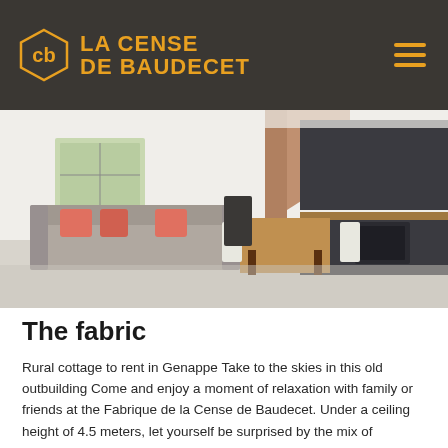La Cense de Baudecet
[Figure (photo): Interior photo of a modern open-plan living space with grey sofa with orange cushions, wooden dining table, white chairs, and dark modern kitchen cabinetry with wooden worktops; exposed wooden beam ceiling visible.]
The fabric
Rural cottage to rent in Genappe Take to the skies in this old outbuilding Come and enjoy a moment of relaxation with family or friends at the Fabrique de la Cense de Baudecet. Under a ceiling height of 4.5 meters, let yourself be surprised by the mix of modernity associated with the charm of old beams. La Fabrique is made up of … 1 open living room – 2 bedrooms –